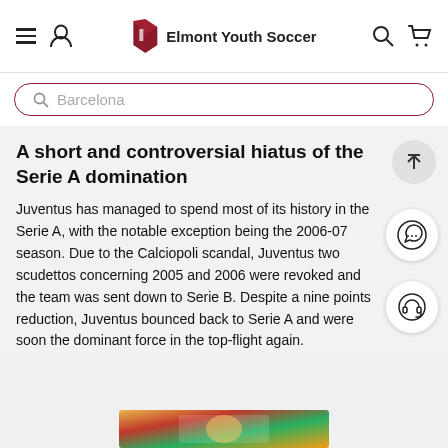Elmont Youth Soccer
Barcelona
A short and controversial hiatus of the Serie A domination
Juventus has managed to spend most of its history in the Serie A, with the notable exception being the 2006-07 season. Due to the Calciopoli scandal, Juventus two scudettos concerning 2005 and 2006 were revoked and the team was sent down to Serie B. Despite a nine points reduction, Juventus bounced back to Serie A and were soon the dominant force in the top-flight again.
[Figure (photo): Partially visible photo at bottom of page, appears to be a colorful sports/soccer related image]